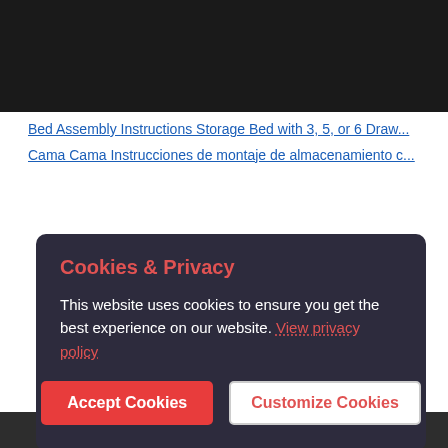[Figure (screenshot): Dark/black video player area at the top of the page]
Bed Assembly Instructions Storage Bed with 3, 5, or 6 Draw...
Cama Cama Instrucciones de montaje de almacenamiento c...
[Figure (screenshot): Cookie & Privacy modal overlay on dark background. Title: Cookies & Privacy. Body: This website uses cookies to ensure you get the best experience on our website. View privacy policy. Buttons: Accept Cookies, Customize Cookies]
[Figure (screenshot): Bottom dark video area with exclamation icon and text: This video is private]